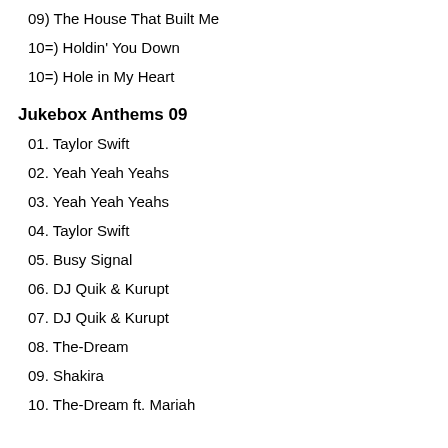09) The House That Built Me
10=) Holdin' You Down
10=) Hole in My Heart
Jukebox Anthems 09
01. Taylor Swift
02. Yeah Yeah Yeahs
03. Yeah Yeah Yeahs
04. Taylor Swift
05. Busy Signal
06. DJ Quik & Kurupt
07. DJ Quik & Kurupt
08. The-Dream
09. Shakira
10. The-Dream ft. Mariah